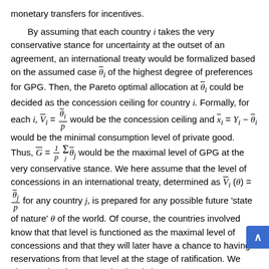monetary transfers for incentives.
By assuming that each country i takes the very conservative stance for uncertainty at the outset of an agreement, an international treaty would be formalized based on the assumed case θ̄_i of the highest degree of preferences for GPG. Then, the Pareto optimal allocation at θ̄_i could be decided as the concession ceiling for country i. Formally, for each i, V̄_i = θ̄_i/p would be the concession ceiling and x̄_i = Y_i − θ̄_i would be the minimal consumption level of private good. Thus, Ḡ = (1/p) Σ_j θ̄_j would be the maximal level of GPG at the very conservative stance. We here assume that the level of concessions in an international treaty, determined as V̄_i(θ) = θ̄_j/p for any country j, is prepared for any possible future 'state of nature' θ of the world. Of course, the countries involved know that that level is functioned as the maximal level of concessions and that they will later have a chance to having reservations from that level at the stage of ratification. We observe that the concession levels in our setup are heterogeneous among countries. In reality, there is diversity on the concession levels for